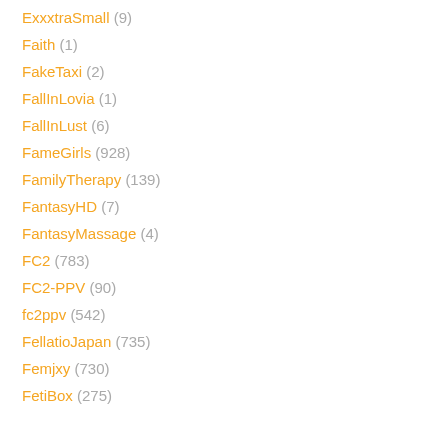ExxxtraSmall (9)
Faith (1)
FakeTaxi (2)
FallInLovia (1)
FallInLust (6)
FameGirls (928)
FamilyTherapy (139)
FantasyHD (7)
FantasyMassage (4)
FC2 (783)
FC2-PPV (90)
fc2ppv (542)
FellatioJapan (735)
Femjxy (730)
FetiBox (275)